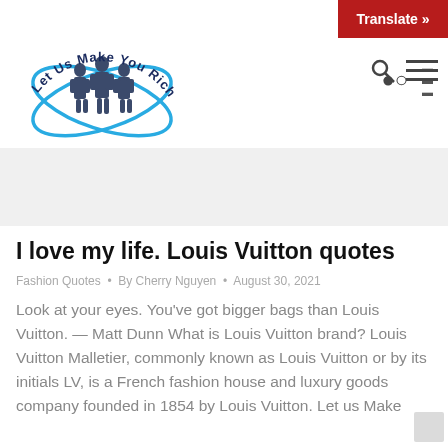[Figure (logo): Let Us Make You Rich circular logo with businessmen silhouettes and blue orbit rings, dark navy text around arc]
Translate »
I love my life. Louis Vuitton quotes
Fashion Quotes • By Cherry Nguyen • August 30, 2021
Look at your eyes. You've got bigger bags than Louis Vuitton. — Matt Dunn What is Louis Vuitton brand? Louis Vuitton Malletier, commonly known as Louis Vuitton or by its initials LV, is a French fashion house and luxury goods company founded in 1854 by Louis Vuitton. Let us Make